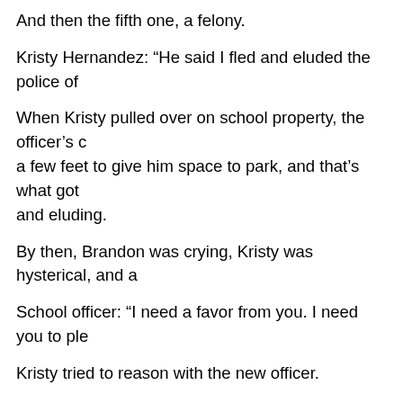And then the fifth one, a felony.
Kristy Hernandez: “He said I fled and eluded the police of…
When Kristy pulled over on school property, the officer’s c… a few feet to give him space to park, and that’s what got… and eluding.
By then, Brandon was crying, Kristy was hysterical, and a…
School officer: “I need a favor from you. I need you to ple…
Kristy tried to reason with the new officer.
Kristy Hernandez: “Everyone was beeping at him, and all b… job properly.’ He signaled me out.”
Didn’t matter. Kristy now has four tickets and a felony cha…
Kristy Hernandez: “I felt violated. I felt victimized. It’s clea…
Well, Howard, you have seen the video. Legally, is this righ…